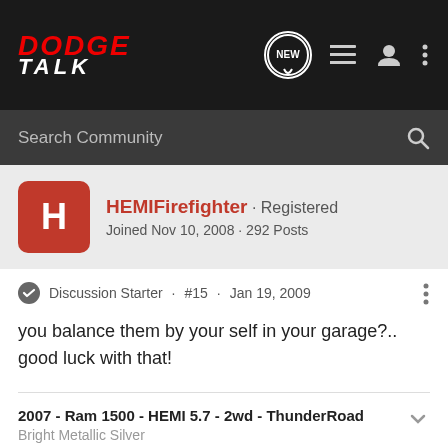DODGE TALK
Search Community
HEMIFirefighter · Registered
Joined Nov 10, 2008 · 292 Posts
Discussion Starter · #15 · Jan 19, 2009
you balance them by your self in your garage?.. good luck with that!
2007 - Ram 1500 - HEMI 5.7 - 2wd - ThunderRoad
Bright Metallic Silver